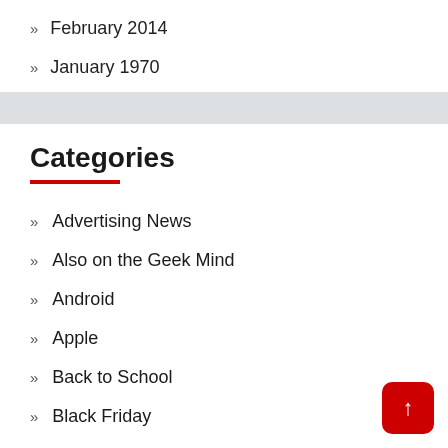February 2014
January 1970
Categories
Advertising News
Also on the Geek Mind
Android
Apple
Back to School
Black Friday
Cars & Vehicles